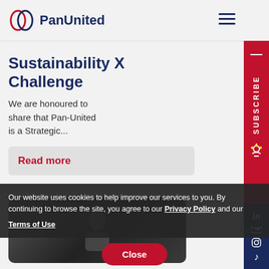[Figure (logo): PanUnited logo with two overlapping circles and text 'PanUnited']
Sustainability X Challenge
We are honoured to share that Pan-United is a Strategic...
Read more
[Figure (photo): Thumbnail image of a person in a dark setting]
Our website uses cookies to help improve our services to you. By continuing to browse the site, you agree to our Privacy Policy and our Terms of Use
Close
16 March 2021